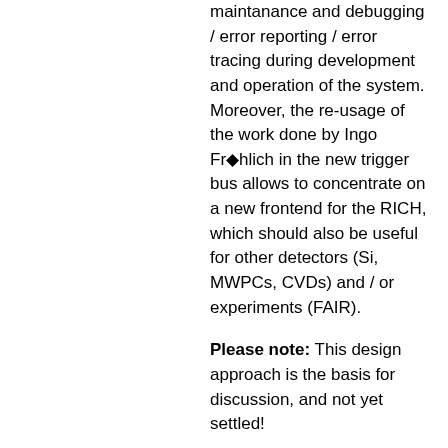maintanance and debugging / error reporting / error tracing during development and operation of the system. Moreover, the re-usage of the work done by Ingo Fröhlich in the new trigger bus allows to concentrate on a new frontend for the RICH, which should also be useful for other detectors (Si, MWPCs, CVDs) and / or experiments (FAIR).
Please note: This design approach is the basis for discussion, and not yet settled!
The new system will consist of several modules, as listed below:
analog frontend card